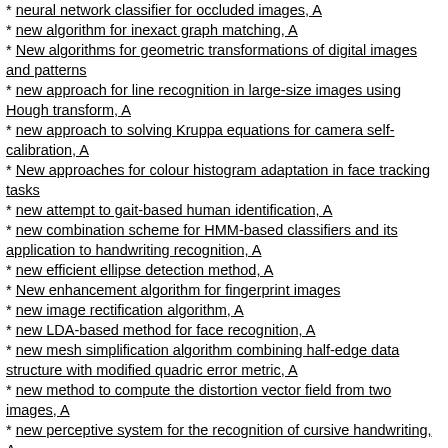* neural network classifier for occluded images, A
* new algorithm for inexact graph matching, A
* New algorithms for geometric transformations of digital images and patterns
* new approach for line recognition in large-size images using Hough transform, A
* new approach to solving Kruppa equations for camera self-calibration, A
* New approaches for colour histogram adaptation in face tracking tasks
* new attempt to gait-based human identification, A
* new combination scheme for HMM-based classifiers and its application to handwriting recognition, A
* new efficient ellipse detection method, A
* New enhancement algorithm for fingerprint images
* new image rectification algorithm, A
* new LDA-based method for face recognition, A
* new mesh simplification algorithm combining half-edge data structure with modified quadric error metric, A
* new method to compute the distortion vector field from two images, A
* new perceptive system for the recognition of cursive handwriting, A
* new shape transformation approach to handwritten character recognition, A
* new transformation machine to applied in CMC, A